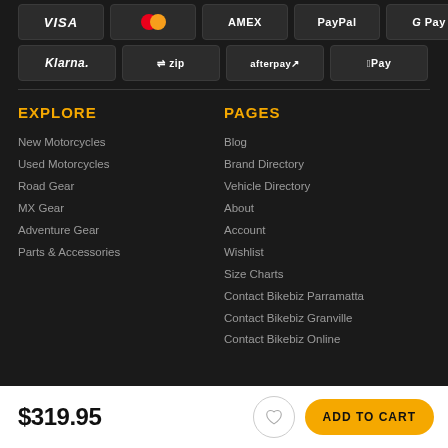[Figure (other): Payment method logos row 1: VISA, Mastercard, AMEX, PayPal, G Pay]
[Figure (other): Payment method logos row 2: Klarna, Zip, Afterpay, Apple Pay]
EXPLORE
New Motorcycles
Used Motorcycles
Road Gear
MX Gear
Adventure Gear
Parts & Accessories
PAGES
Blog
Brand Directory
Vehicle Directory
About
Account
Wishlist
Size Charts
Contact Bikebiz Parramatta
Contact Bikebiz Granville
Contact Bikebiz Online
$319.95
ADD TO CART